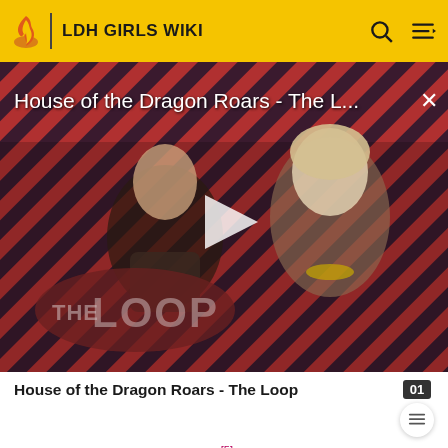LDH GIRLS WIKI
[Figure (screenshot): Video thumbnail for 'House of the Dragon Roars - The L...' showing two characters in medieval/fantasy costumes against a red diagonal stripe background with a play button overlay and THE LOOP logo]
House of the Dragon Roars - The Loop
USA, in June of the same year.[5]
In autumn 2021, it seemed as if YUZUNA had left the group and returned to Japan as her name was not